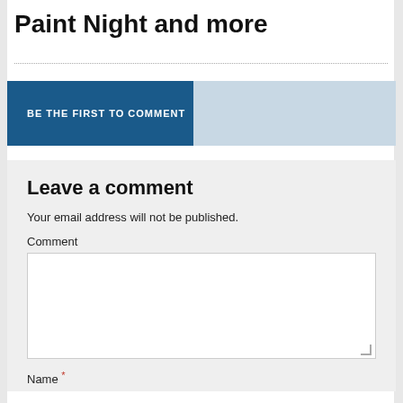Paint Night and more
BE THE FIRST TO COMMENT
Leave a comment
Your email address will not be published.
Comment
Name *